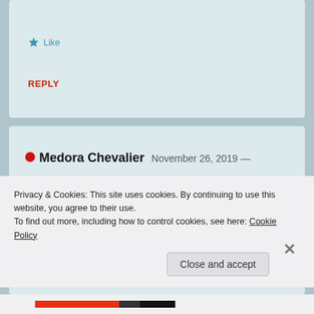★ Like
REPLY
Medora Chevalier  November 26, 2019 — 4:40 pm
Thank you for your comment. This line
Privacy & Cookies: This site uses cookies. By continuing to use this website, you agree to their use.
To find out more, including how to control cookies, see here: Cookie Policy
Close and accept